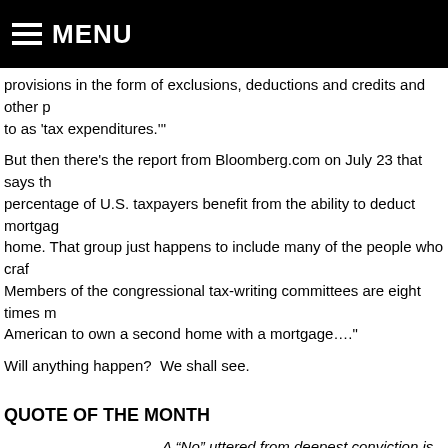MENU
provisions in the form of exclusions, deductions and credits and other p to as 'tax expenditures.'"
But then there's the report from Bloomberg.com on July 23 that says th percentage of U.S. taxpayers benefit from the ability to deduct mortgag home. That group just happens to include many of the people who craf Members of the congressional tax-writing committees are eight times m American to own a second home with a mortgage…."
Will anything happen?  We shall see.
QUOTE OF THE MONTH
A “No” uttered from deepest conviction is better and greate uttered to please, or what is worse, to avoid trouble.
≈  Mahatma Gandhi, Indian political and spiritual leader (1869-1948)